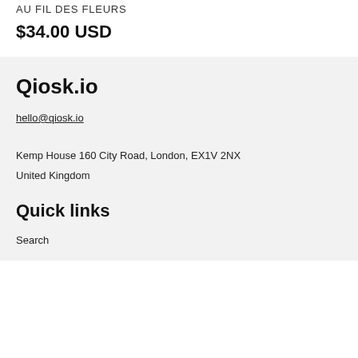AU FIL DES FLEURS
$34.00 USD
Qiosk.io
hello@qiosk.io
Kemp House 160 City Road, London, EX1V 2NX
United Kingdom
Quick links
Search